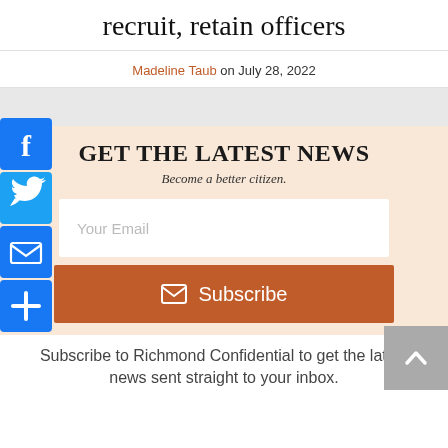recruit, retain officers
Madeline Taub on July 28, 2022
[Figure (infographic): Social media share buttons: Facebook, Twitter, Email, Share (blue square icons on left sidebar)]
GET THE LATEST NEWS
Become a better citizen.
Your Email (email input field)
Subscribe (button)
Subscribe to Richmond Confidential to get the latest news sent straight to your inbox.